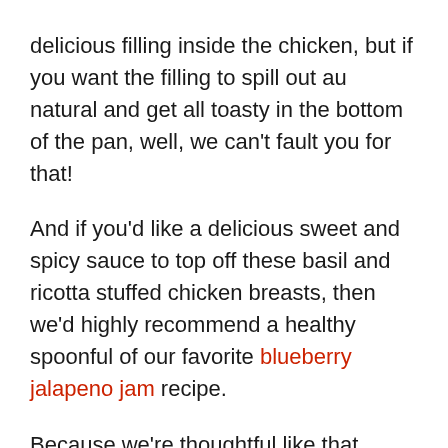delicious filling inside the chicken, but if you want the filling to spill out au natural and get all toasty in the bottom of the pan, well, we can't fault you for that!
And if you'd like a delicious sweet and spicy sauce to top off these basil and ricotta stuffed chicken breasts, then we'd highly recommend a healthy spoonful of our favorite blueberry jalapeno jam recipe.
Because we're thoughtful like that.
Oh, and if you need some side ideas, then try pairing your Italian-inspired stuffed chicken with this recipe for creamy saffron risotto or this recipe